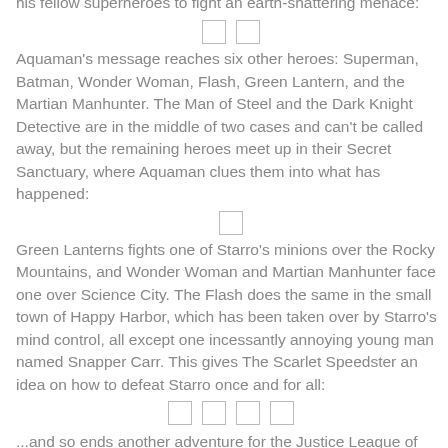his fellow superheroes to fight an earth-shattering menace:
[Figure (other): Two small image placeholders side by side]
Aquaman's message reaches six other heroes: Superman, Batman, Wonder Woman, Flash, Green Lantern, and the Martian Manhunter. The Man of Steel and the Dark Knight Detective are in the middle of two cases and can't be called away, but the remaining heroes meet up in their Secret Sanctuary, where Aquaman clues them into what has happened:
[Figure (other): One small image placeholder]
Green Lanterns fights one of Starro's minions over the Rocky Mountains, and Wonder Woman and Martian Manhunter face one over Science City. The Flash does the same in the small town of Happy Harbor, which has been taken over by Starro's mind control, all except one incessantly annoying young man named Snapper Carr. This gives The Scarlet Speedster an idea on how to defeat Starro once and for all:
[Figure (other): Four small image placeholders in a row]
...and so ends another adventure for the Justice League of America!
With this humble--yet entertaining--story, Gardner Fox, Mike Sekowsky, and editor Julius Schwartz put into place what would